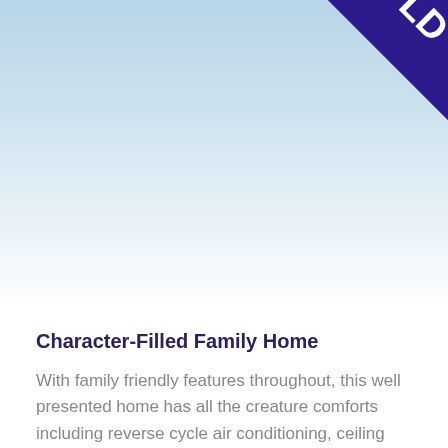[Figure (photo): Partial photo of a house exterior with blue sky, mostly cropped. A dark purple 'SOLD' diagonal banner appears in the top-right corner.]
Character-Filled Family Home
With family friendly features throughout, this well presented home has all the creature comforts including reverse cycle air conditioning, ceiling fans and slow combustion fireplace for cosy winter nights.